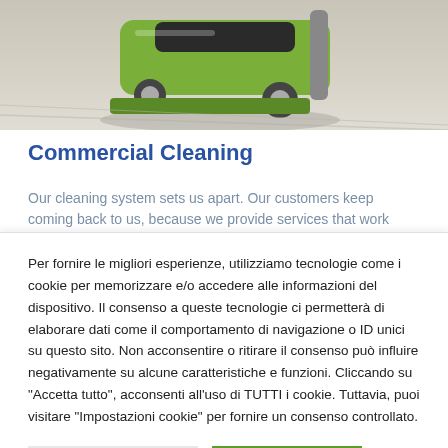[Figure (photo): Photo of a green vacuum cleaner on a light carpet/floor surface, shot from above at an angle.]
Commercial Cleaning
Our cleaning system sets us apart. Our customers keep coming back to us, because we provide services that work
Per fornire le migliori esperienze, utilizziamo tecnologie come i cookie per memorizzare e/o accedere alle informazioni del dispositivo. Il consenso a queste tecnologie ci permetterà di elaborare dati come il comportamento di navigazione o ID unici su questo sito. Non acconsentire o ritirare il consenso può influire negativamente su alcune caratteristiche e funzioni. Cliccando su "Accetta tutto", acconsenti all'uso di TUTTI i cookie. Tuttavia, puoi visitare "Impostazioni cookie" per fornire un consenso controllato.
Impostazioni Cookie | Accetta tutto